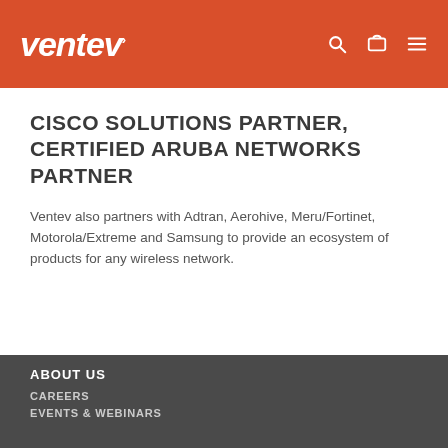ventev
CISCO SOLUTIONS PARTNER, CERTIFIED ARUBA NETWORKS PARTNER
Ventev also partners with Adtran, Aerohive, Meru/Fortinet, Motorola/Extreme and Samsung to provide an ecosystem of products for any wireless network.
ABOUT US
CAREERS
EVENTS & WEBINARS